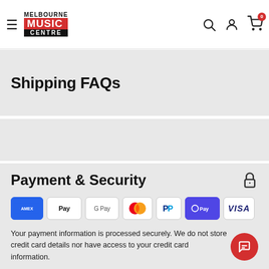Melbourne Music Centre — navigation header with logo, hamburger menu, search, account, and cart icons
Shipping FAQs
Payment & Security
[Figure (logo): Payment method logos: American Express, Apple Pay, Google Pay, Mastercard, PayPal, OPay, Visa]
Your payment information is processed securely. We do not store credit card details nor have access to your credit card information.